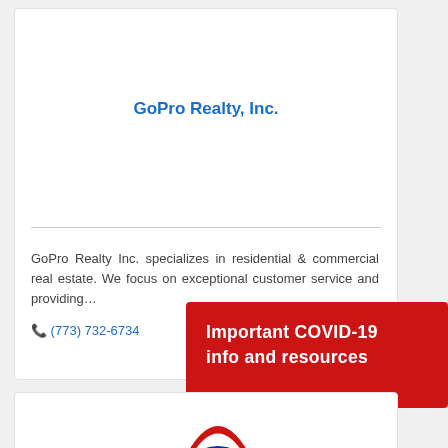GoPro Realty, Inc.
GoPro Realty Inc. specializes in residential & commercial real estate. We focus on exceptional customer service and providing…
📞 (773) 732-6734
Important COVID-19 info and resources
[Figure (logo): RE/MAX logo partially visible at the bottom of the page]